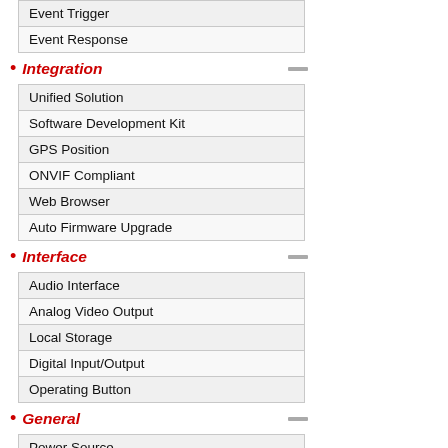| Event Trigger |
| Event Response |
Integration
| Unified Solution |
| Software Development Kit |
| GPS Position |
| ONVIF Compliant |
| Web Browser |
| Auto Firmware Upgrade |
Interface
| Audio Interface |
| Analog Video Output |
| Local Storage |
| Digital Input/Output |
| Operating Button |
General
| Power Source |
| Power Consumption |
| Weight |
| Dimensions |